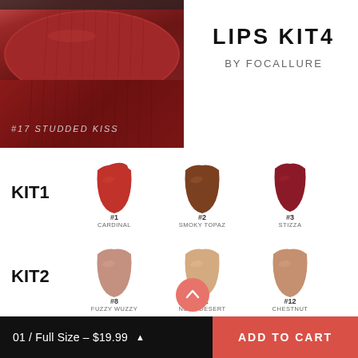[Figure (photo): Close-up photo of lips with dark red matte lipstick, two panels: top shows lips shape, bottom shows lip swatch texture labeled #17 STUDDED KISS]
LIPS KIT4
BY FOCALLURE
[Figure (infographic): Lipstick swatch grid showing KIT1 with shades #1 CARDINAL (red), #2 SMOKY TOPAZ (brown), #3 STIZZA (dark red); KIT2 with shades #8 FUZZY WUZZY (mauve), #11 NUDE DESERT (nude beige), #12 CHESTNUT (warm nude); and partial view of a third row]
01 / Full Size – $19.99  ADD TO CART